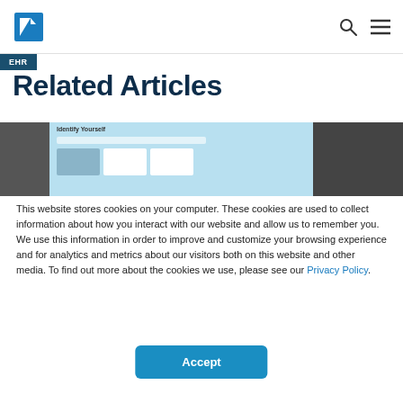Navigation bar with logo and icons
Related Articles
[Figure (screenshot): Article thumbnail strip with EHR badge and a website screenshot showing Identify Yourself page with cards]
This website stores cookies on your computer. These cookies are used to collect information about how you interact with our website and allow us to remember you. We use this information in order to improve and customize your browsing experience and for analytics and metrics about our visitors both on this website and other media. To find out more about the cookies we use, please see our Privacy Policy.
Accept